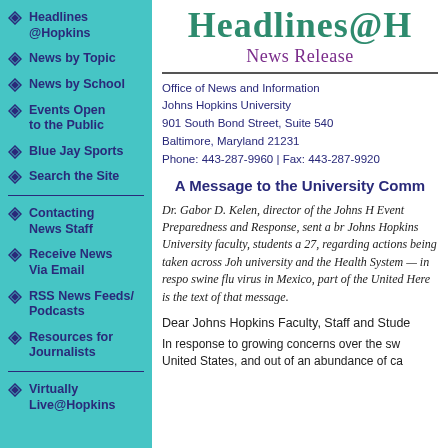Headlines @Hopkins
News by Topic
News by School
Events Open to the Public
Blue Jay Sports
Search the Site
Contacting News Staff
Receive News Via Email
RSS News Feeds/ Podcasts
Resources for Journalists
Virtually Live@Hopkins
Headlines@H
News Release
Office of News and Information
Johns Hopkins University
901 South Bond Street, Suite 540
Baltimore, Maryland 21231
Phone: 443-287-9960 | Fax: 443-287-9920
A Message to the University Comm
Dr. Gabor D. Kelen, director of the Johns H Event Preparedness and Response, sent a br Johns Hopkins University faculty, students a 27, regarding actions being taken across Joh university and the Health System — in respo swine flu virus in Mexico, part of the United Here is the text of that message.
Dear Johns Hopkins Faculty, Staff and Stude
In response to growing concerns over the sw United States, and out of an abundance of ca